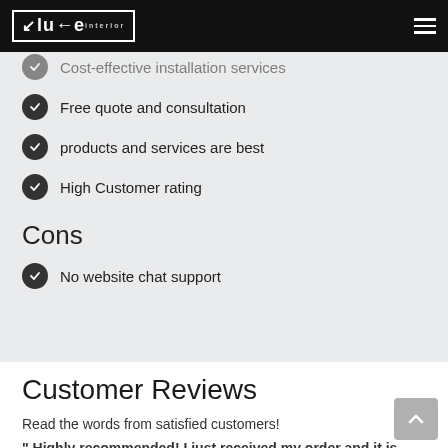Muse Interior
Cost-effective installation services
Free quote and consultation
products and services are best
High Customer rating
Cons
No website chat support
Customer Reviews
Read the words from satisfied customers!
" Highly recommended! I just received my order and it is